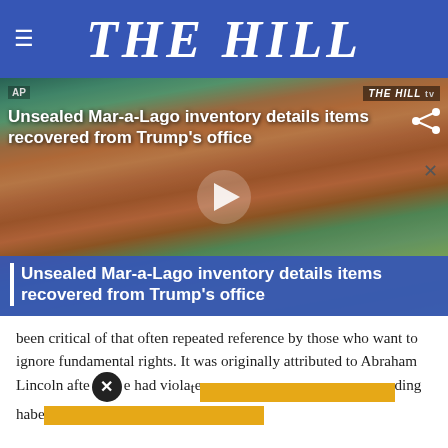THE HILL
[Figure (screenshot): Video thumbnail showing aerial photo of Mar-a-Lago estate with overlaid text: 'Unsealed Mar-a-Lago inventory details items recovered from Trump's office'. THE HILL TV logo visible top right. AP label top left. Play button in center. Blue banner at bottom repeating the headline.]
been critical of that often repeated reference by those who want to ignore fundamental rights. It was originally attributed to Abraham Lincoln after he had violated [ad overlay] including habeas [ad overlay]
[Advertisement bar overlay - yellow/gold colored]